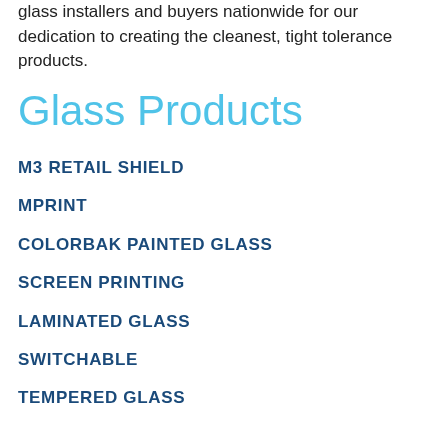glass installers and buyers nationwide for our dedication to creating the cleanest, tight tolerance products.
Glass Products
M3 RETAIL SHIELD
MPRINT
COLORBAK PAINTED GLASS
SCREEN PRINTING
LAMINATED GLASS
SWITCHABLE
TEMPERED GLASS